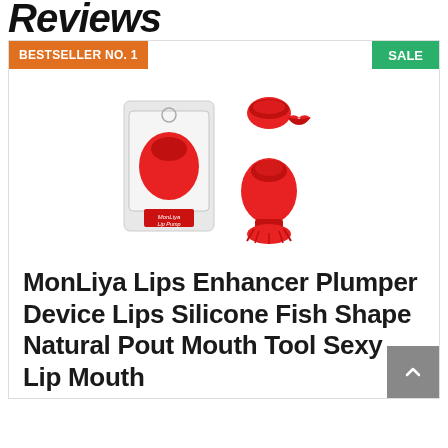Reviews
BESTSELLER NO. 1
SALE
[Figure (photo): Red silicone lip plumper product shown in packaging and out of packaging. Fish-shape device with MonLiya Lip Pump branding. Includes small round cap and lips icon graphic.]
MonLiya Lips Enhancer Plumper Device Lips Silicone Fish Shape Natural Pout Mouth Tool Sexy Lip Mouth